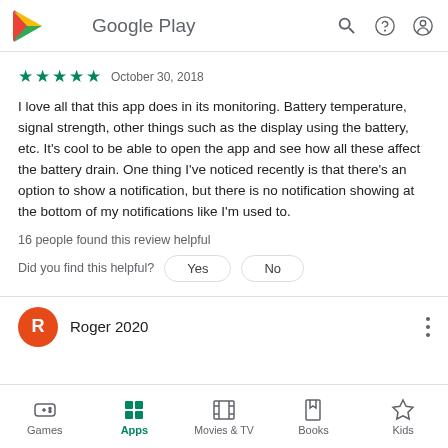Google Play
★★★★★  October 30, 2018
I love all that this app does in its monitoring. Battery temperature, signal strength, other things such as the display using the battery, etc. It's cool to be able to open the app and see how all these affect the battery drain. One thing I've noticed recently is that there's an option to show a notification, but there is no notification showing at the bottom of my notifications like I'm used to.
16 people found this review helpful
Did you find this helpful?  Yes  No
Roger 2020
Games  Apps  Movies & TV  Books  Kids